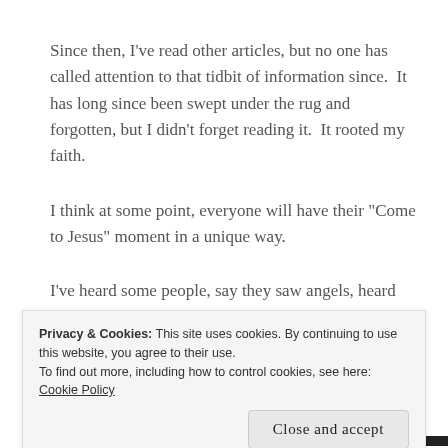Since then, I've read other articles, but no one has called attention to that tidbit of information since.  It has long since been swept under the rug and forgotten, but I didn't forget reading it.  It rooted my faith.
I think at some point, everyone will have their "Come to Jesus" moment in a unique way.
I've heard some people, say they saw angels, heard
Privacy & Cookies: This site uses cookies. By continuing to use this website, you agree to their use.
To find out more, including how to control cookies, see here: Cookie Policy
Close and accept